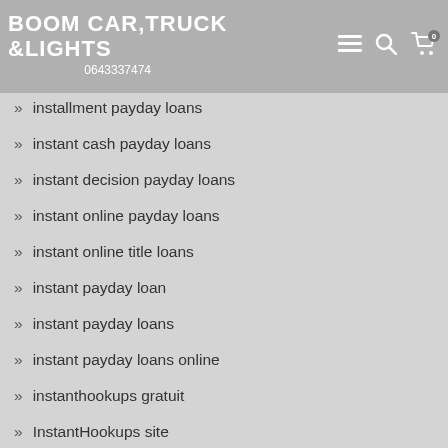BOOM CAR,TRUCK &LIGHTS 0643337474
installment loans with no credit
installment loans direct lender
installment loans with monthly payments
installment payday loans
instant cash payday loans
instant decision payday loans
instant online payday loans
instant online title loans
instant payday loan
instant payday loans
instant payday loans online
instanthookups gratuit
InstantHookups site
instasext-inceleme reviews